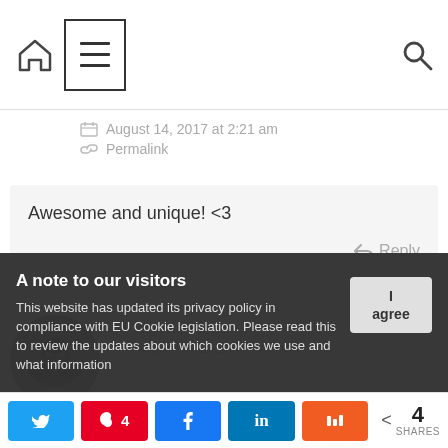Navigation bar with home icon, hamburger menu, and search icon
August 14, 2017 at 2:21 am
Permalink
Awesome and unique! <3
Reply
[Figure (photo): Circular avatar photo of Karen Propes]
Karen Propes
August 14, 2017 at 7:03 pm
A note to our visitors
This website has updated its privacy policy in compliance with EU Cookie legislation. Please read this to review the updates about which cookies we use and what information
4 SHARES — Twitter, Pinterest 4, Facebook, LinkedIn, Mix